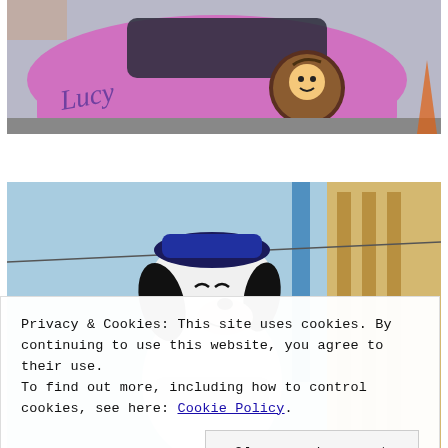[Figure (photo): Pink Lucy-themed ride car with a cartoon character decal, viewed from above at an amusement park]
[Figure (photo): Snoopy costumed character mascot at an amusement park with blue sky and wooden structure in background]
Privacy & Cookies: This site uses cookies. By continuing to use this website, you agree to their use.
To find out more, including how to control cookies, see here: Cookie Policy
Close and accept